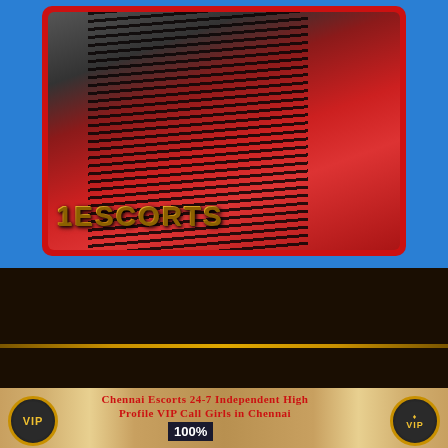[Figure (photo): Photo of a woman with long black hair wearing a red lace outfit, with gold 3D text reading '1ESCORTS' overlaid on the image. The photo is set inside a red-bordered frame on a blue background.]
[Figure (photo): Bottom banner advertisement showing women in gold/cream and red outfits, with VIP badge circles on left and right, text 'Chennai Escorts 24-7 Independent High Profile VIP Call Girls in Chennai' and '100%' text box.]